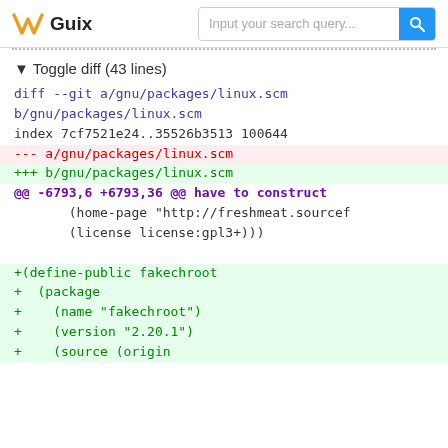Guix — Input your search query...
▼ Toggle diff (43 lines)
diff --git a/gnu/packages/linux.scm b/gnu/packages/linux.scm
index 7cf7521e24..35526b3513 100644
--- a/gnu/packages/linux.scm
+++ b/gnu/packages/linux.scm
@@ -6793,6 +6793,36 @@ have to construct
        (home-page "http://freshmeat.sourcef
        (license license:gpl3+)))

+(define-public fakechroot
+  (package
+    (name "fakechroot")
+    (version "2.20.1")
+    (source (origin